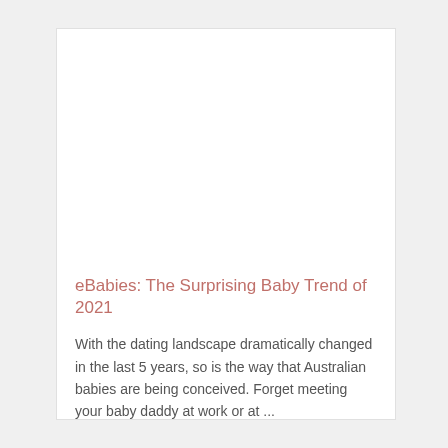[Figure (other): White blank image placeholder area at the top of an article card]
eBabies: The Surprising Baby Trend of 2021
With the dating landscape dramatically changed in the last 5 years, so is the way that Australian babies are being conceived. Forget meeting your baby daddy at work or at ...